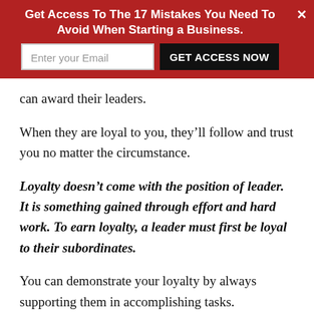[Figure (infographic): Red promotional banner with headline 'Get Access To The 17 Mistakes You Need To Avoid When Starting a Business.' with email input field and 'GET ACCESS NOW' button, and a close X button.]
can award their leaders.
When they are loyal to you, they’ll follow and trust you no matter the circumstance.
Loyalty doesn’t come with the position of leader. It is something gained through effort and hard work. To earn loyalty, a leader must first be loyal to their subordinates.
You can demonstrate your loyalty by always supporting them in accomplishing tasks.